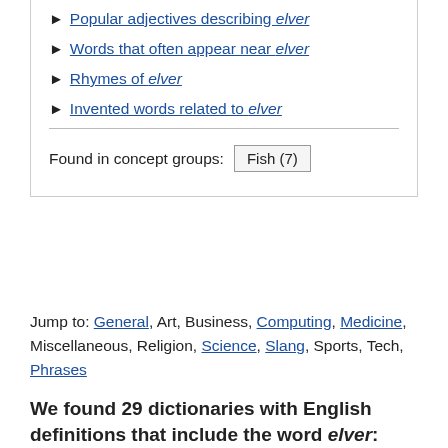► Popular adjectives describing elver
► Words that often appear near elver
► Rhymes of elver
► Invented words related to elver
Found in concept groups: Fish (7)
Jump to: General, Art, Business, Computing, Medicine, Miscellaneous, Religion, Science, Slang, Sports, Tech, Phrases
We found 29 dictionaries with English definitions that include the word elver:
Click on the first link on a line below to go directly to a page where "elver" is defined.